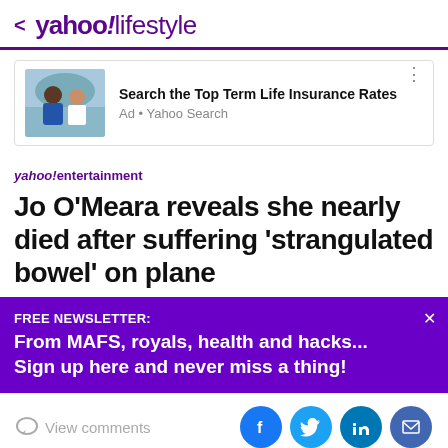< yahoo!lifestyle
[Figure (photo): Advertisement banner: couple sitting outdoors, with text 'Search the Top Term Life Insurance Rates' and 'Ad • Yahoo Search']
yahoo!entertainment
Jo O'Meara reveals she nearly died after suffering 'strangulated bowel' on plane
FREE NEWSLETTER: From MAFS, royals, health and hacks... Sign up here and never miss a thing!
View comments